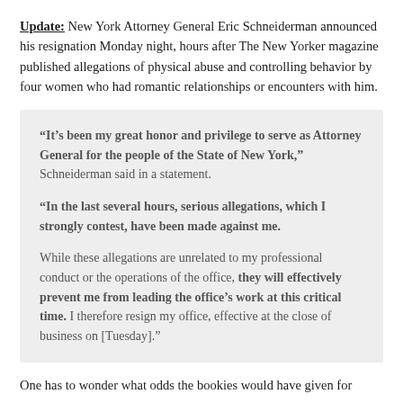Update: New York Attorney General Eric Schneiderman announced his resignation Monday night, hours after The New Yorker magazine published allegations of physical abuse and controlling behavior by four women who had romantic relationships or encounters with him.
“It’s been my great honor and privilege to serve as Attorney General for the people of the State of New York,” Schneiderman said in a statement.

“In the last several hours, serious allegations, which I strongly contest, have been made against me.

While these allegations are unrelated to my professional conduct or the operations of the office, they will effectively prevent me from leading the office’s work at this critical time. I therefore resign my office, effective at the close of business on [Tuesday].”
One has to wonder what odds the bookies would have given for